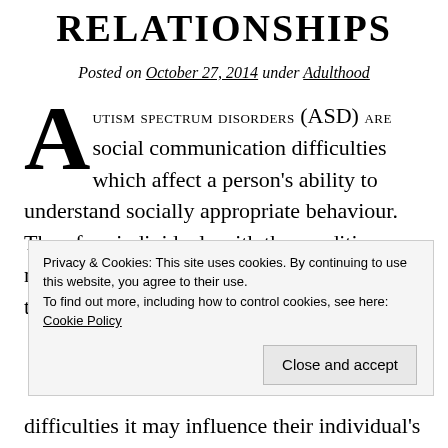RELATIONSHIPS
Posted on October 27, 2014 under Adulthood
Autism Spectrum Disorders (ASD) are social communication difficulties which affect a person's ability to understand socially appropriate behaviour. Therefore individuals with the condition are not necessarily aware, of or constrained by, the
Privacy & Cookies: This site uses cookies. By continuing to use this website, you agree to their use. To find out more, including how to control cookies, see here: Cookie Policy
Close and accept
difficulties it may influence their individual's